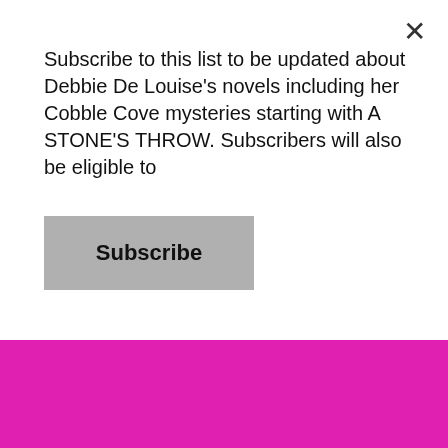Subscribe to this list to be updated about Debbie De Louise's novels including her Cobble Cove mysteries starting with A STONE'S THROW. Subscribers will also be eligible to
Subscribe
area. Feel free to disagree with my points if there is need for disagreement, but keep in mind that all off-topic comments, disparaging comments, comments with more than one link, and comments that include profanity will be deleted. You can contact me directly at debbiewriter@yahoo.com. Thank you for reading my blog.